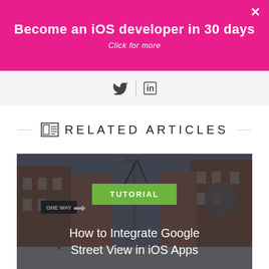Become an iOS developer in 30 days
Click for more
[Figure (infographic): Social sharing icons: Twitter bird icon and LinkedIn 'in' icon separated by a vertical divider]
RELATED ARTICLES
[Figure (photo): Street view photo of a New York alley with a 'One Way' sign, brick buildings, fire escapes, and a street lamp. Overlaid with a green 'TUTORIAL' badge and white text 'How to Integrate Google Street View in iOS Apps']
TUTORIAL
How to Integrate Google Street View in iOS Apps